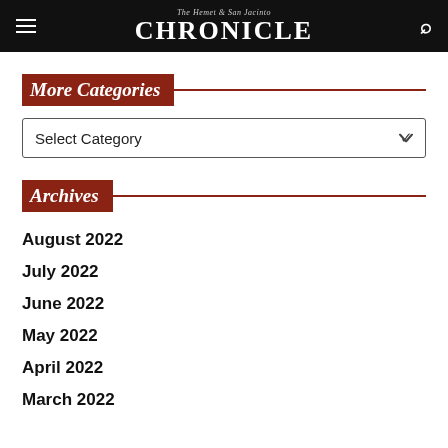The Hemet & San Jacinto CHRONICLE
More Categories
Select Category
Archives
August 2022
July 2022
June 2022
May 2022
April 2022
March 2022